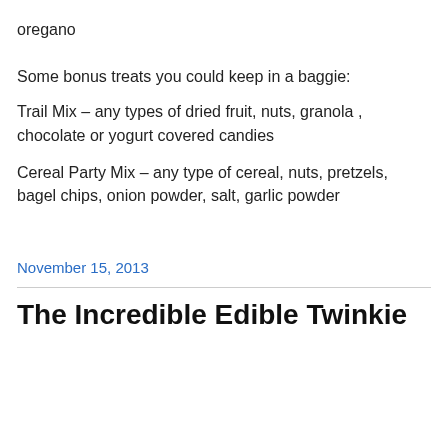oregano
Some bonus treats you could keep in a baggie:
Trail Mix – any types of dried fruit, nuts, granola , chocolate or yogurt covered candies
Cereal Party Mix – any type of cereal, nuts, pretzels, bagel chips, onion powder, salt, garlic powder
November 15, 2013
The Incredible Edible Twinkie